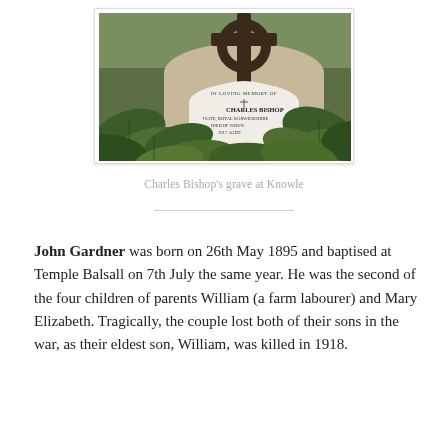[Figure (photo): Photograph of Charles Bishop's grave at Knowle — a rounded stone headstone with a Celtic cross on top, surrounded by large green leaves. The inscription reads 'In Loving Memory of Charles Bishop, Private Royal Warwickshire, Died of Wounds 1917 Aged...']
Charles Bishop's grave at Knowle
John Gardner was born on 26th May 1895 and baptised at Temple Balsall on 7th July the same year. He was the second of the four children of parents William (a farm labourer) and Mary Elizabeth. Tragically, the couple lost both of their sons in the war, as their eldest son, William, was killed in 1918.